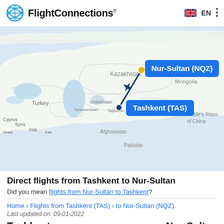FlightConnections® EN
[Figure (map): Map showing Central Asia with a route line from Tashkent (TAS) to Nur-Sultan (NQZ), with labeled city tooltips and an airplane icon along the route. Countries visible include Turkey, Kazakhstan, Uzbekistan, Turkmenistan, Tajikistan, Iran, Iraq, Syria, Afghanistan, Pakistan, Mongolia, and People's Republic of China.]
Direct flights from Tashkent to Nur-Sultan
Did you mean flights from Nur-Sultan to Tashkent?
Home › Flights from Tashkent (TAS) › to Nur-Sultan (NQZ)
Last updated on: 09-01-2022
Tashkent    Nur-Sultan